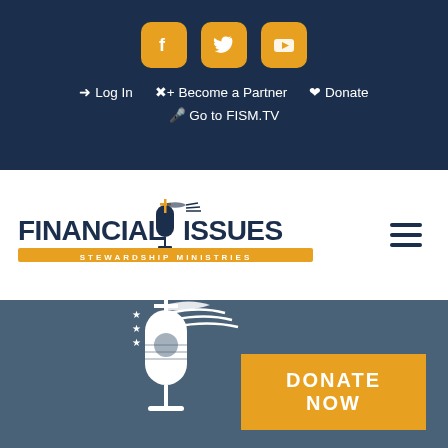[Figure (logo): Social media icons: Facebook, Twitter, YouTube as orange rounded square buttons]
Log In   Become a Partner   Donate   Go to FISM.TV
[Figure (logo): Financial Issues Stewardship Ministries logo with microphone and flag graphic]
[Figure (illustration): White microphone with flag and stars icon on dark blue-gray background]
DONATE NOW